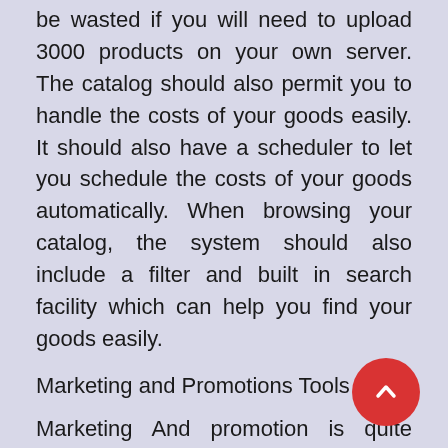be wasted if you will need to upload 3000 products on your own server. The catalog should also permit you to handle the costs of your goods easily. It should also have a scheduler to let you schedule the costs of your goods automatically. When browsing your catalog, the system should also include a filter and built in search facility which can help you find your goods easily.
Marketing and Promotions Tools
Marketing And promotion is quite important for you personally eCommerce website. An effective eCommerce store needs occasional online promotions and advertising campaigns to keep your customers coming back and make that important purchase. Ensure that your